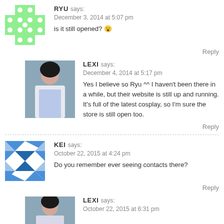[Figure (illustration): Green cross/plus shaped avatar with polka dot pattern for user RYU]
RYU says:
December 3, 2014 at 5:07 pm
is it still opened? 😮
Reply
[Figure (photo): Photo of a young woman in white top and blue skirt, Lexi's avatar]
LEXI says:
December 4, 2014 at 5:17 pm
Yes I believe so Ryu ^^ I haven't been there in a while, but their website is still up and running. It's full of the latest cosplay, so I'm sure the store is still open too.
Reply
[Figure (illustration): Blue geometric/diamond pattern avatar for user KEI]
KEI says:
October 22, 2015 at 4:24 pm
Do you remember ever seeing contacts there?
Reply
[Figure (photo): Photo of a young woman, Lexi's avatar (partial)]
LEXI says:
October 22, 2015 at 6:31 pm